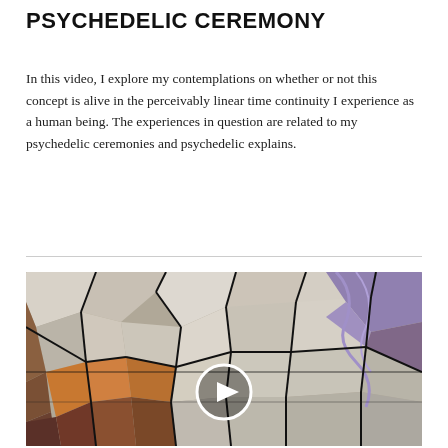PSYCHEDELIC CEREMONY
In this video, I explore my contemplations on whether or not this concept is alive in the perceivably linear time continuity I experience as a human being. The experiences in question are related to my psychedelic ceremonies and psychedelic explains.
[Figure (screenshot): Video thumbnail showing abstract psychedelic artwork with mosaic/stained-glass-like patterns in dark lines over light and colored areas (brown, orange, purple). A white-bordered circular play button is centered over the image.]